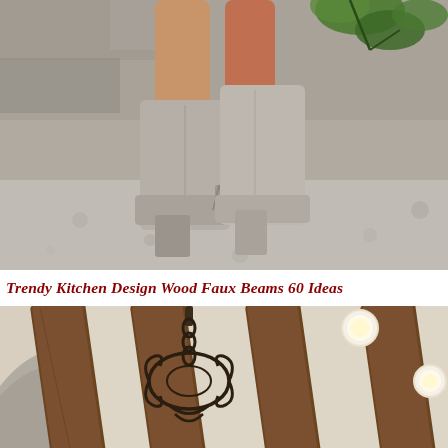[Figure (photo): Close-up photo of a person wearing taupe/grey suede ankle boots with a block heel and tassel detail, standing on a grey stone surface with a stone wall and green leaves in the background.]
Trendy Kitchen Design Wood Faux Beams 60 Ideas
[Figure (photo): Interior photo of a kitchen ceiling with dark wood faux beams and recessed lighting, with an ornate wrought iron chandelier visible in the foreground hanging from the ceiling.]